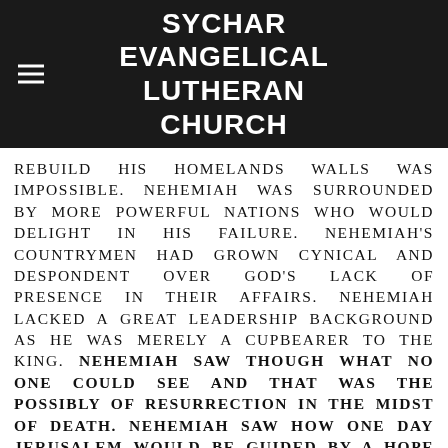SYCHAR EVANGELICAL LUTHERAN CHURCH
REBUILD HIS HOMELANDS WALLS WAS IMPOSSIBLE. NEHEMIAH WAS SURROUNDED BY MORE POWERFUL NATIONS WHO WOULD DELIGHT IN HIS FAILURE. NEHEMIAH'S COUNTRYMEN HAD GROWN CYNICAL AND DESPONDENT OVER GOD'S LACK OF PRESENCE IN THEIR AFFAIRS. NEHEMIAH LACKED A GREAT LEADERSHIP BACKGROUND AS HE WAS MERELY A CUPBEARER TO THE KING. NEHEMIAH SAW THOUGH WHAT NO ONE COULD SEE AND THAT WAS THE POSSIBLY OF RESURRECTION IN THE MIDST OF DEATH. NEHEMIAH SAW HOW ONE DAY JERUSALEM WOULD BE GUIDED BY A HOPE FROM ABOVE. NEHEMIAH BECOMES JERUSALEM'S GOVERNOR AND BEGINS TO BRING FORTH LIGHT OUT OF THE GREATEST OF DARKNESS. NEHEMIAH'S PRESENCE